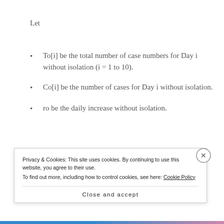Let
To[i] be the total number of case numbers for Day i without isolation (i = 1 to 10).
Co[i] be the number of cases for Day i without isolation.
ro be the daily increase without isolation.
[Figure (other): Advertisement banner with blue background showing partial text: app you'll ever need.]
Ro be the average number of people one person may infect
Privacy & Cookies: This site uses cookies. By continuing to use this website, you agree to their use. To find out more, including how to control cookies, see here: Cookie Policy
Close and accept